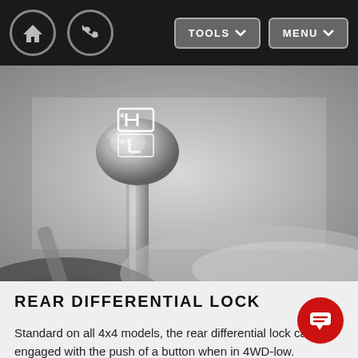TOOLS  MENU
[Figure (photo): Close-up photograph of a 4WD gear shift knob in grayscale, showing 4H and 4L selector positions]
REAR DIFFERENTIAL LOCK
Standard on all 4x4 models, the rear differential lock can be engaged with the push of a button when in 4WD-low.